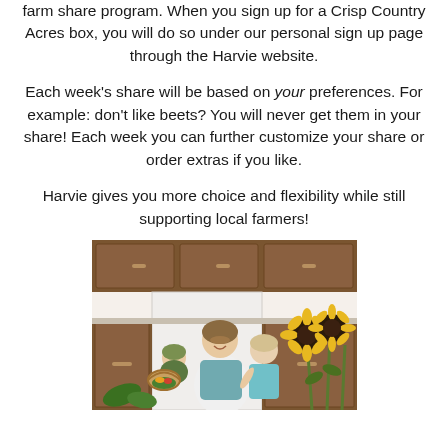farm share program. When you sign up for a Crisp Country Acres box, you will do so under our personal sign up page through the Harvie website.
Each week's share will be based on your preferences. For example: don't like beets? You will never get them in your share! Each week you can further customize your share or order extras if you like.
Harvie gives you more choice and flexibility while still supporting local farmers!
[Figure (photo): A woman and two young children in a kitchen looking at a basket of produce, with sunflowers visible on the right side. Kitchen cabinets are visible in the background.]